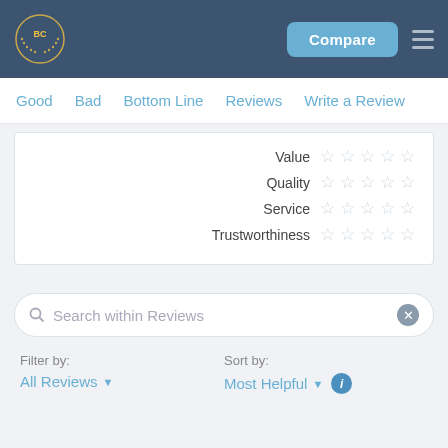BC logo | Compare | menu
Good  Bad  Bottom Line  Reviews  Write a Review
| Category | Rating |
| --- | --- |
| Value | ☆☆☆☆☆ |
| Quality | ☆☆☆☆☆ |
| Service | ☆☆☆☆☆ |
| Trustworthiness | ☆☆☆☆☆ |
Search within Reviews
Filter by:
All Reviews ▾
Sort by:
Most Helpful ▾